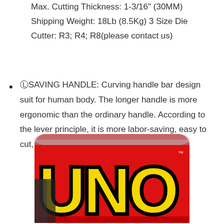Max. Cutting Thickness: 1-3/16" (30MM) Shipping Weight: 18Lb (8.5Kg) 3 Size Die Cutter: R3; R4; R8(please contact us)
🄻SAVING HANDLE: Curving handle bar design suit for human body. The longer handle is more ergonomic than the ordinary handle. According to the lever principle, it is more labor-saving, easy to cut, and with higher efficiency.
[Figure (photo): UNO card game tin box with red background and yellow/black UNO logo, partially cropped showing the bottom portion of the tin.]